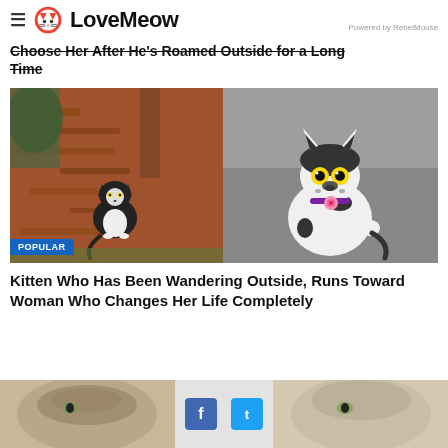≡ LoveMeow  Powered by RebelMouse
Choose Her After He's Roamed Outside for a Long Time
[Figure (photo): Two-photo collage: left photo shows a small black-and-white kitten sitting in red wood chips outdoors near a tree; right photo shows the same kitten grown up, white with black spots, wearing a pink rose collar, sitting on a gray couch looking at the camera with wide eyes. A blue 'POPULAR' badge overlays the bottom left.]
Kitten Who Has Been Wandering Outside, Runs Toward Woman Who Changes Her Life Completely
[Figure (photo): Partial bottom strip showing two cats (left: tabby, right: light-colored cat) with Facebook and Twitter share buttons in the center middle area.]